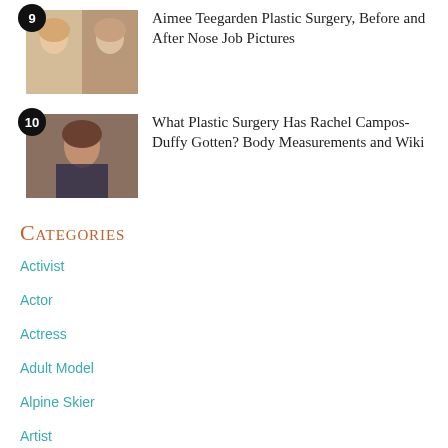9 Aimee Teegarden Plastic Surgery, Before and After Nose Job Pictures
10 What Plastic Surgery Has Rachel Campos-Duffy Gotten? Body Measurements and Wiki
Categories
Activist
Actor
Actress
Adult Model
Alpine Skier
Artist
Athlete
Attorney